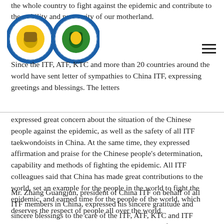the whole country to fight against the epidemic and contribute to the stability and prosperity of our motherland.
[Figure (logo): Two circular logos: International Taekwon-Do Federation logo and Taekwon-Do Federation of Africa logo, side by side]
Since the ITF, ATF, KTC and more than 20 countries around the world have sent letter of sympathies to China ITF, expressing greetings and blessings. The letters expressed great concern about the situation of the Chinese people against the epidemic, as well as the safety of all ITF taekwondoists in China. At the same time, they expressed affirmation and praise for the Chinese people's determination, capability and methods of fighting the epidemic. All ITF colleagues said that China has made great contributions to the world, set an example for the people in the world to fight the epidemic, and earned time for the people of the world, which deserves the respect of people all over the world.
Mr. Zhang Guangjun, president of China ITF on behalf of all ITF members in China, expressed his sincere gratitude and sincere blessings to the care of the ITF, ATF, KTC and ITF associations in various countries, and thank them for their